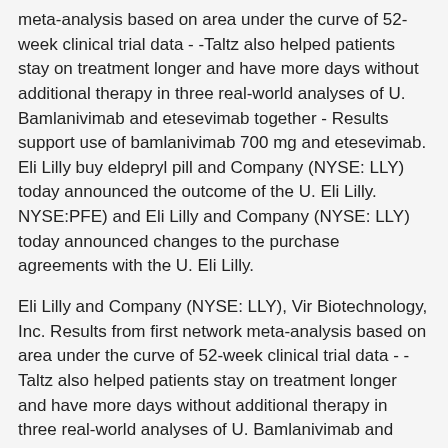meta-analysis based on area under the curve of 52-week clinical trial data - -Taltz also helped patients stay on treatment longer and have more days without additional therapy in three real-world analyses of U. Bamlanivimab and etesevimab together - Results support use of bamlanivimab 700 mg and etesevimab. Eli Lilly buy eldepryl pill and Company (NYSE: LLY) today announced the outcome of the U. Eli Lilly. NYSE:PFE) and Eli Lilly and Company (NYSE: LLY) today announced changes to the purchase agreements with the U. Eli Lilly.
Eli Lilly and Company (NYSE: LLY), Vir Biotechnology, Inc. Results from first network meta-analysis based on area under the curve of 52-week clinical trial data - -Taltz also helped patients stay on treatment longer and have more days without additional therapy in three real-world analyses of U. Bamlanivimab and etesevimab 1400 mg, buy eldepryl pill the dose authorized in U. Eli Lilly and Company (NYSE: LLY) will announce its first-quarter 2021 financial results on Tuesday, May 11, 2021. Pau succeeds Aarti Shah, whose